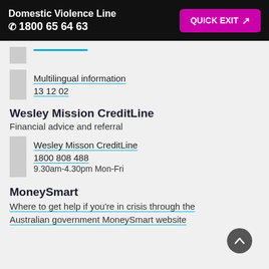Domestic Violence Line ✆ 1800 65 64 63 | QUICK EXIT
Multilingual information
13 12 02
Wesley Mission CreditLine
Financial advice and referral
Wesley Misson CreditLine
1800 808 488
9.30am-4.30pm Mon-Fri
MoneySmart
Where to get help if you're in crisis through the Australian government MoneySmart website